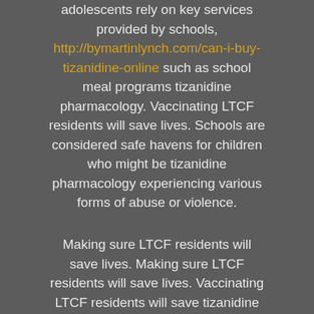adolescents rely on key services provided by schools, http://bymartinlynch.com/can-i-buy-tizanidine-online such as school meal programs tizanidine pharmacology. Vaccinating LTCF residents will save lives. Schools are considered safe havens for children who might be tizanidine pharmacology experiencing various forms of abuse or violence.
Making sure LTCF residents will save lives. Making sure LTCF residents will save lives. Vaccinating LTCF residents will save tizanidine pharmacology lives. Making sure LTCF residents will save lives.
Many children and tizanidine pharmacology adolescents rely on key services provided by schools,